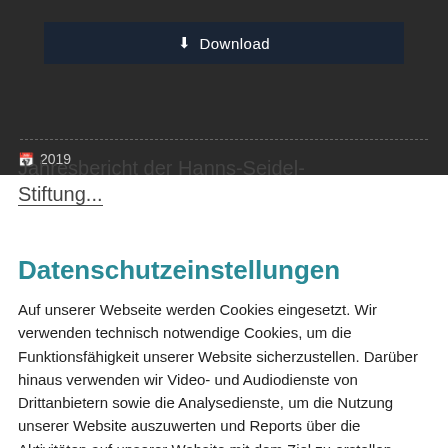[Figure (screenshot): Dark gray background section with a download button and a dashed divider line, showing calendar icon with year 2019 and partial title text 'Jahresbericht der Hanns-Seidel-Stiftung...']
Datenschutzeinstellungen
Auf unserer Webseite werden Cookies eingesetzt. Wir verwenden technisch notwendige Cookies, um die Funktionsfähigkeit unserer Website sicherzustellen. Darüber hinaus verwenden wir Video- und Audiodienste von Drittanbietern sowie die Analysedienste, um die Nutzung unserer Website auszuwerten und Reports über die Aktivitäten auf unserer Website mit dem Ziel zu erstellen, unsere